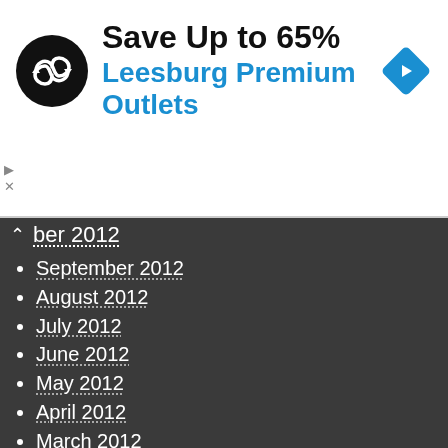[Figure (other): Advertisement banner: circular black logo with double infinity/loop arrows icon, headline 'Save Up to 65%', subline 'Leesburg Premium Outlets' in blue, blue diamond navigation icon on right, play and close controls on left]
ber 2012
September 2012
August 2012
July 2012
June 2012
May 2012
April 2012
March 2012
February 2012
January 2012
December 2011
November 2011
October 2011
September 2011
August 2011
July 2011
June 2011
May 2011